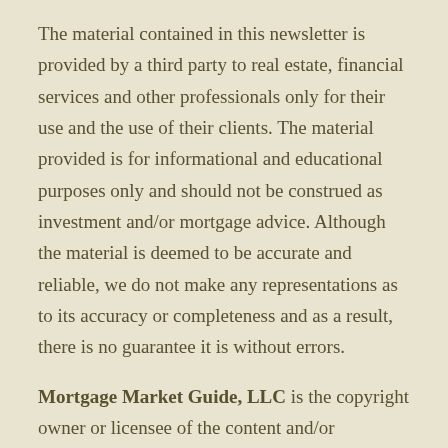The material contained in this newsletter is provided by a third party to real estate, financial services and other professionals only for their use and the use of their clients. The material provided is for informational and educational purposes only and should not be construed as investment and/or mortgage advice. Although the material is deemed to be accurate and reliable, we do not make any representations as to its accuracy or completeness and as a result, there is no guarantee it is without errors.
Mortgage Market Guide, LLC is the copyright owner or licensee of the content and/or information in this email, unless otherwise indicated. Mortgage Market Guide, LLC does not grant to you a license to any content, features or materials in this email. You may not distribute, download, or save a copy of any of the content or screens except as otherwise provided in our Terms and Conditions of